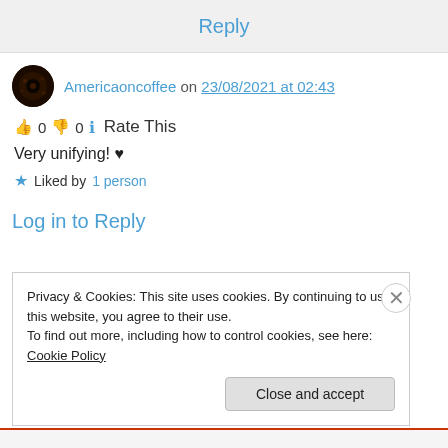Reply
Americaoncoffee on 23/08/2021 at 02:43
👍 0 👎 0 ℹ Rate This
Very unifying! ♥
★ Liked by 1 person
Log in to Reply
Privacy & Cookies: This site uses cookies. By continuing to use this website, you agree to their use.
To find out more, including how to control cookies, see here: Cookie Policy